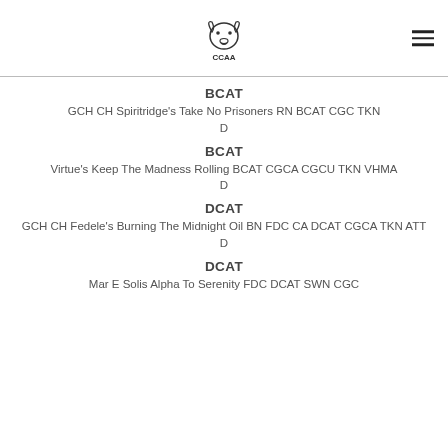[Figure (logo): CCAA dog logo with dog head silhouette and text CCAA]
BCAT
GCH CH Spiritridge's Take No Prisoners RN BCAT CGC TKN
D
BCAT
Virtue's Keep The Madness Rolling BCAT CGCA CGCU TKN VHMA
D
DCAT
GCH CH Fedele's Burning The Midnight Oil BN FDC CA DCAT CGCA TKN ATT
D
DCAT
Mar E Solis Alpha To Serenity FDC DCAT SWN CGC